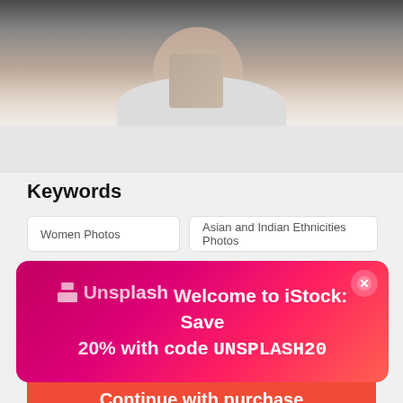[Figure (photo): Cropped photo showing the neck and collar area of a person wearing a white shirt, partial face visible, dark background]
Keywords
Women Photos
Asian and Indian Ethnicities Photos
Human Face Photos
Chinese Ethnicity Photos
[Figure (screenshot): Unsplash promotional banner overlay with magenta/pink gradient background. Text: 'Unsplash Welcome to iStock: Save 20% with code UNSPLASH20'. Close button (X) at top right.]
$33 | 3 credits
Continue with purchase